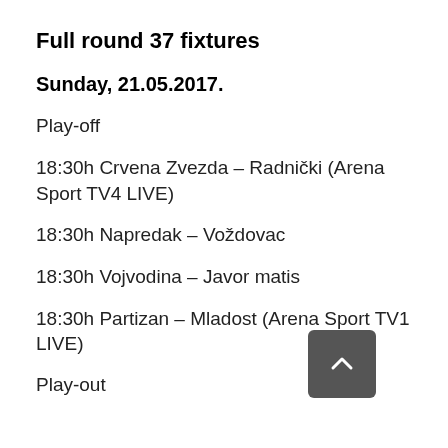Full round 37 fixtures
Sunday, 21.05.2017.
Play-off
18:30h Crvena Zvezda – Radnički (Arena Sport TV4 LIVE)
18:30h Napredak – Voždovac
18:30h Vojvodina – Javor matis
18:30h Partizan – Mladost (Arena Sport TV1 LIVE)
Play-out